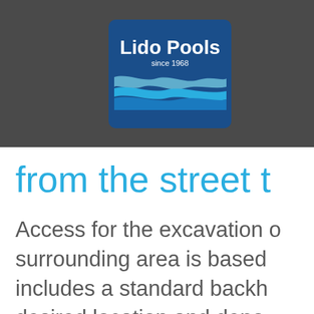[Figure (logo): Lido Pools logo — white text on dark blue rounded rectangle background with wave graphic, text reads 'Lido Pools since 1968']
from the street t
Access for the excavation o surrounding area is based includes a standard backh desired location and depo directly into a dump truck minimum width of 12’ 0“